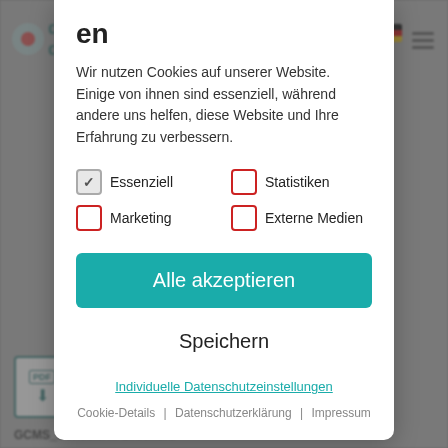en
Wir nutzen Cookies auf unserer Website. Einige von ihnen sind essenziell, während andere uns helfen, diese Website und Ihre Erfahrung zu verbessern.
✓ Essenziell
☐ Statistiken
☐ Marketing
☐ Externe Medien
Alle akzeptieren
Speichern
Individuelle Datenschutzeinstellungen
Cookie-Details | Datenschutzerklärung | Impressum
tion COVID-19 Ag GCMS_GENEDIA W COVID-19 Ag_EU Representative.pdf PDF-Dokument [273 KB]
GCMS_Genedia W Brochure